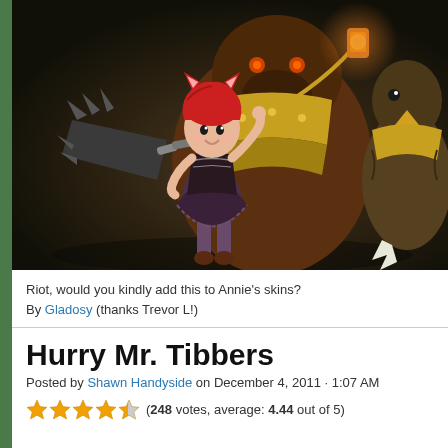[Figure (illustration): Digital illustration of Annie from League of Legends in a gothic lolita dress with pink/red hair and cat ears, holding a lantern. Behind her is Tibbers, a large bear-like creature with armor and mechanical elements. Another character visible on the right side with a bird-like beak.]
Riot, would you kindly add this to Annie's skins?
By Gladosy (thanks Trevor L!)
Hurry Mr. Tibbers
Posted by Shawn Handyside on December 4, 2011 · 1:07 AM
★★★★☆ (248 votes, average: 4.44 out of 5)